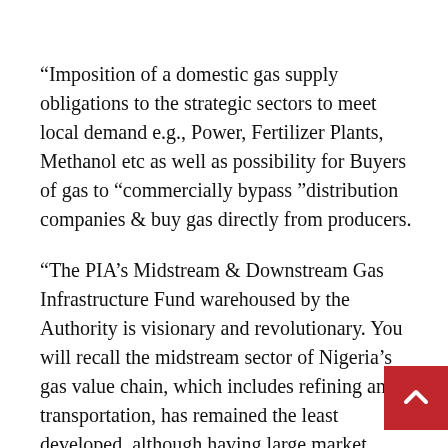“Imposition of a domestic gas supply obligations to the strategic sectors to meet local demand e.g., Power, Fertilizer Plants, Methanol etc as well as possibility for Buyers of gas to “commercially bypass ”distribution companies & buy gas directly from producers.
“The PIA’s Midstream & Downstream Gas Infrastructure Fund warehoused by the Authority is visionary and revolutionary. You will recall the midstream sector of Nigeria’s gas value chain, which includes refining and transportation, has remained the least developed, although having large market potential for revenue and job creation.